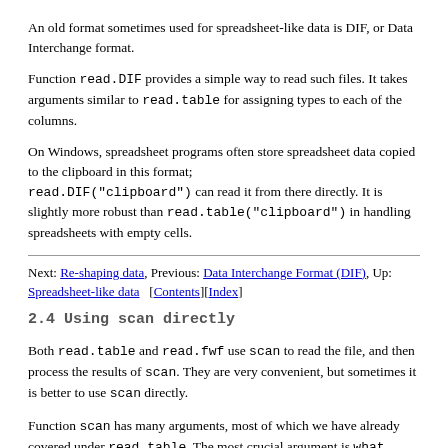An old format sometimes used for spreadsheet-like data is DIF, or Data Interchange format.
Function read.DIF provides a simple way to read such files. It takes arguments similar to read.table for assigning types to each of the columns.
On Windows, spreadsheet programs often store spreadsheet data copied to the clipboard in this format; read.DIF("clipboard") can read it from there directly. It is slightly more robust than read.table("clipboard") in handling spreadsheets with empty cells.
Next: Re-shaping data, Previous: Data Interchange Format (DIF), Up: Spreadsheet-like data [Contents][Index]
2.4 Using scan directly
Both read.table and read.fwf use scan to read the file, and then process the results of scan. They are very convenient, but sometimes it is better to use scan directly.
Function scan has many arguments, most of which we have already covered under read.table. The most crucial argument is what, which specifies a list of modes of variables to be read from the file. If the list is named, the names are